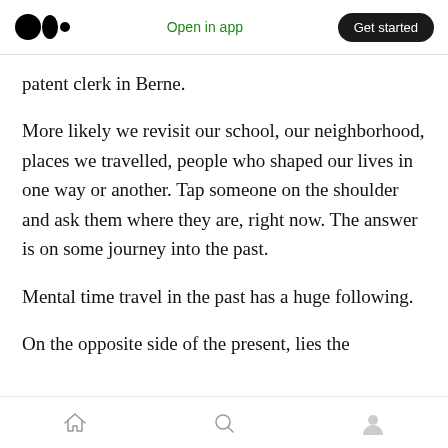Medium logo | Open in app | Get started
patent clerk in Berne.
More likely we revisit our school, our neighborhood, places we travelled, people who shaped our lives in one way or another. Tap someone on the shoulder and ask them where they are, right now. The answer is on some journey into the past.
Mental time travel in the past has a huge following.
On the opposite side of the present, lies the
Home | Search | Profile